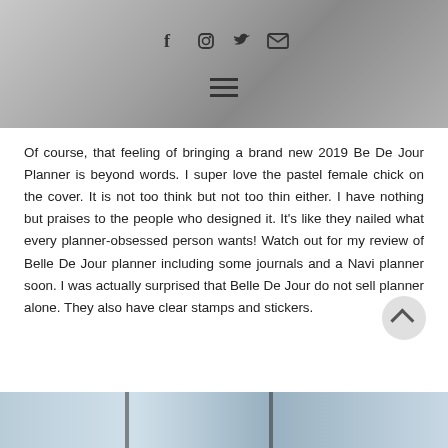[Figure (photo): Group of people sitting around a table, social media icons (Facebook, Instagram, Twitter, Email) and a hamburger menu overlaid on the image]
Of course, that feeling of bringing a brand new 2019 Be De Jour Planner is beyond words. I super love the pastel female chick on the cover. It is not too think but not too thin either. I have nothing but praises to the people who designed it. It's like they nailed what every planner-obsessed person wants! Watch out for my review of Belle De Jour planner including some journals and a Navi planner soon. I was actually surprised that Belle De Jour do not sell planner alone. They also have clear stamps and stickers.
[Figure (photo): Interior shot of a building with large windows and structural beams visible]